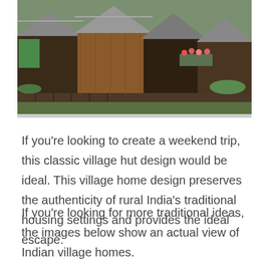[Figure (photo): Aerial/overhead view of traditional wooden village huts with metal roofs, wooden structures, green grass, and flowers visible.]
If you're looking to create a weekend trip, this classic village hut design would be ideal. This village home design preserves the authenticity of rural India's traditional housing settings and provides the ideal escape.
If you're looking for more traditional ideas, the images below show an actual view of Indian village homes.